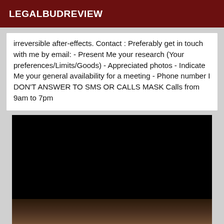LEGALBUDREVIEW
irreversible after-effects. Contact : Preferably get in touch with me by email: - Present Me your research (Your preferences/Limits/Goods) - Appreciated photos - Indicate Me your general availability for a meeting - Phone number I DON'T ANSWER TO SMS OR CALLS MASK Calls from 9am to 7pm
[Figure (photo): Large black image area followed by a partial photo at the bottom showing a person with red elements visible]